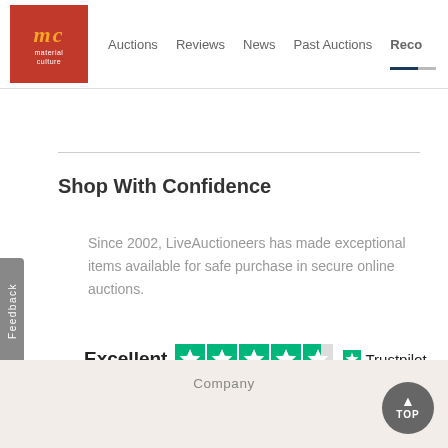Auctions | Reviews | News | Past Auctions | Reco
Shop With Confidence
Since 2002, LiveAuctioneers has made exceptional items available for safe purchase in secure online auctions.
[Figure (logo): Trustpilot Excellent rating badge with 4.5 green stars and Trustpilot logo]
[Figure (photo): Image placeholder icon]
Feedback
Company
Company